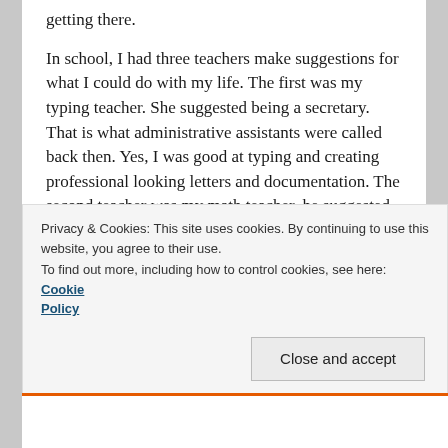getting there.
In school, I had three teachers make suggestions for what I could do with my life. The first was my typing teacher. She suggested being a secretary. That is what administrative assistants were called back then. Yes, I was good at typing and creating professional looking letters and documentation. The second teacher was my math teacher, he suggested either teaching math or getting into something math related. Yes, because math came easy to me. The third teacher was my art teacher. He suggested I use my talent as an artist and make a career out of it.
Privacy & Cookies: This site uses cookies. By continuing to use this website, you agree to their use.
To find out more, including how to control cookies, see here: Cookie Policy